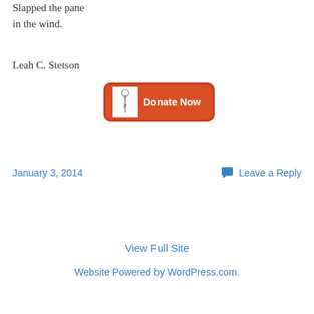Slapped the pane
in the wind.
Leah C. Stetson
[Figure (other): Red donate button with TP logo and text 'Donate Now']
January 3, 2014
Leave a Reply
View Full Site
Website Powered by WordPress.com.